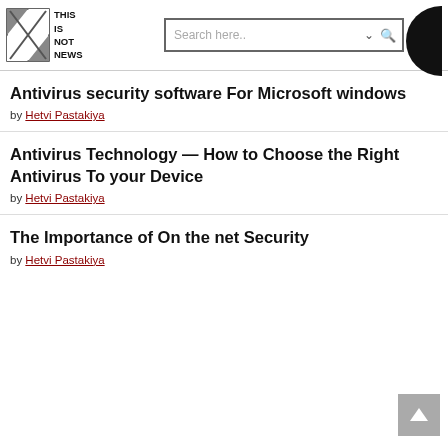THIS IS NOT NEWS — site header with logo and search bar
Antivirus security software For Microsoft windows
by Hetvi Pastakiya
Antivirus Technology — How to Choose the Right Antivirus To your Device
by Hetvi Pastakiya
The Importance of On the net Security
by Hetvi Pastakiya